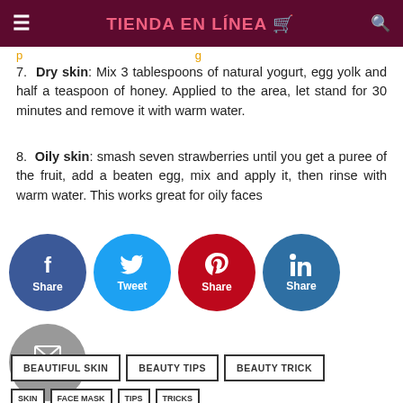TIENDA EN LÍNEA
7. Dry skin: Mix 3 tablespoons of natural yogurt, egg yolk and half a teaspoon of honey. Applied to the area, let stand for 30 minutes and remove it with warm water.
8. Oily skin: smash seven strawberries until you get a puree of the fruit, add a beaten egg, mix and apply it, then rinse with warm water. This works great for oily faces
[Figure (infographic): Social sharing buttons: Facebook Share (blue circle), Twitter Tweet (cyan circle), Pinterest Share (red circle), LinkedIn Share (dark blue circle), Mail (grey circle)]
BEAUTIFUL SKIN   BEAUTY TIPS   BEAUTY TRICK